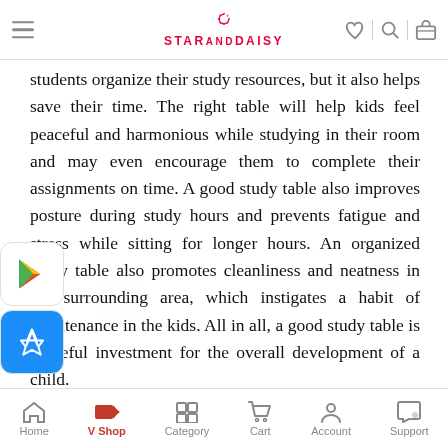StarAndDaisy
students organize their study resources, but it also helps save their time. The right table will help kids feel peaceful and harmonious while studying in their room and may even encourage them to complete their assignments on time. A good study table also improves posture during study hours and prevents fatigue and stress while sitting for longer hours. An organized study table also promotes cleanliness and neatness in the surrounding area, which instigates a habit of maintenance in the kids. All in all, a good study table is a useful investment for the overall development of a child.
These StarAndDaisy E60 Multifunctional kids study table and chair are an ideal workspace for your kid to do homework, read, or draw. The student study table and
Home  V Shop  Category  Cart  Account  Support